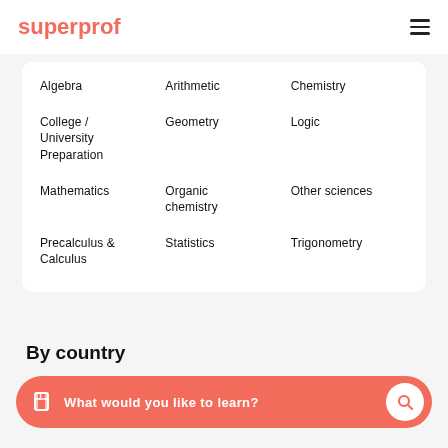superprof
Algebra
Arithmetic
Chemistry
College / University Preparation
Geometry
Logic
Mathematics
Organic chemistry
Other sciences
Precalculus & Calculus
Statistics
Trigonometry
By country
What would you like to learn?